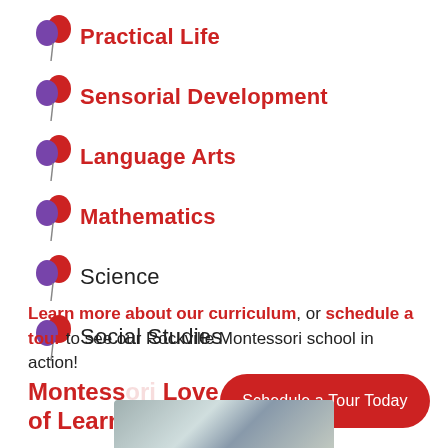Practical Life
Sensorial Development
Language Arts
Mathematics
Science
Social Studies
Learn more about our curriculum, or schedule a tour to see our Rockville Montessori school in action!
Montessori Love of Learning
[Figure (other): Red rounded rectangle button with text 'Schedule a Tour Today' in white]
[Figure (photo): Partial photo of Rockville Montessori school in action, cropped at bottom of page]